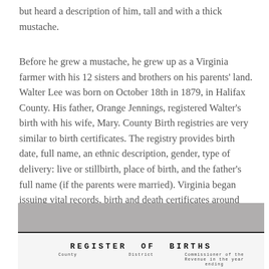but heard a description of him, tall and with a thick mustache.
Before he grew a mustache, he grew up as a Virginia farmer with his 12 sisters and brothers on his parents' land. Walter Lee was born on October 18th in 1879, in Halifax County. His father, Orange Jennings, registered Walter’s birth with his wife, Mary. County Birth registries are very similar to birth certificates. The registry provides birth date, full name, an ethnic description, gender, type of delivery: live or stillbirth, place of birth, and the father’s full name (if the parents were married). Virginia began issuing vital records, birth and death certificates around 1912.
[Figure (photo): A photograph of an old document titled 'REGISTER OF BIRTHS' with column headers partially visible at the bottom, showing a historical birth registry form.]